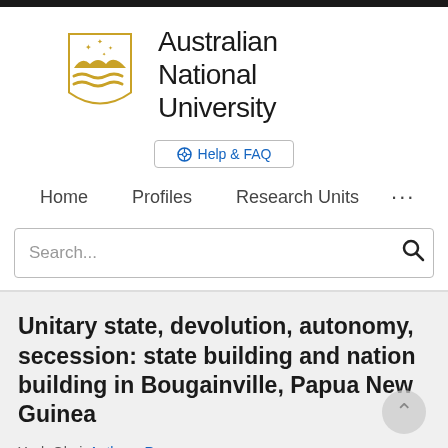[Figure (logo): Australian National University crest logo with gold shield featuring mountain and wave design with stars above]
Australian National University
⊕ Help & FAQ
Home   Profiles   Research Units   ...
Search...
Unitary state, devolution, autonomy, secession: state building and nation building in Bougainville, Papua New Guinea
Yash Ghai, Anthony Regan